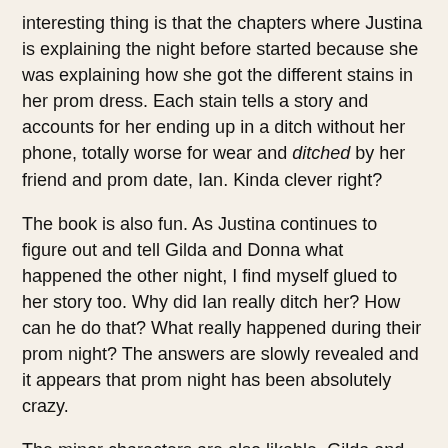interesting thing is that the chapters where Justina is explaining the night before started because she was explaining how she got the different stains in her prom dress. Each stain tells a story and accounts for her ending up in a ditch without her phone, totally worse for wear and ditched by her friend and prom date, Ian. Kinda clever right?
The book is also fun. As Justina continues to figure out and tell Gilda and Donna what happened the other night, I find myself glued to her story too. Why did Ian really ditch her? How can he do that? What really happened during their prom night? The answers are slowly revealed and it appears that prom night has been absolutely crazy.
The minor characters are also likable. Gilda and Donna are good listeners. The Mikes and their dates are funny and someone Justina didn't imagine she would get close too but did. A "real" villain (which is actually translates to bitchy girl) is actually not present. The author just would like as to think that it is Allyson Moore but I think she's not really.
However, I think the weakest link in this story and the reason